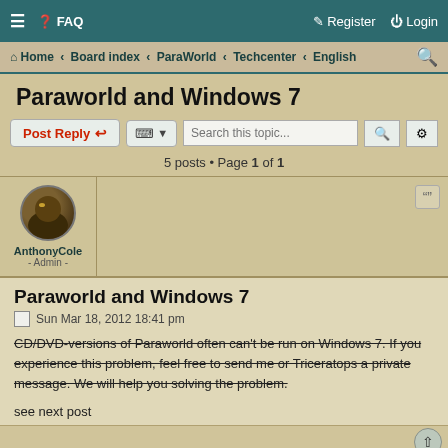≡ ❓ FAQ    Register  Login
Home · Board index · ParaWorld · Techcenter · English  🔍
Paraworld and Windows 7
Post Reply   [tools]   Search this topic...
5 posts • Page 1 of 1
AnthonyCole
- Admin -
Paraworld and Windows 7
Sun Mar 18, 2012 18:41 pm
CD/DVD-versions of Paraworld often can't be run on Windows 7. If you experience this problem, feel free to send me or Triceratops a private message. We will help you solving the problem.
see next post
nzelbaum